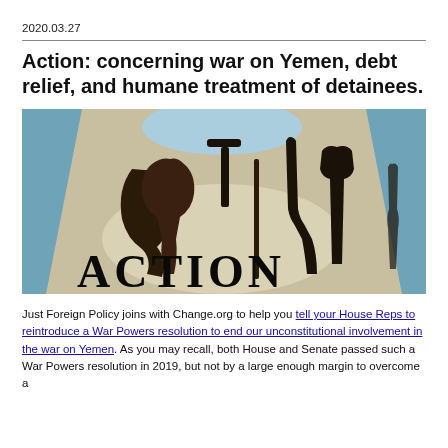2020.03.27
Action: concerning war on Yemen, debt relief, and humane treatment of detainees.
[Figure (illustration): Stylized graphic showing silhouettes of tools (wrench, hammer, screwdrivers) against a blue and beige pyramidal background, with bold serif text 'ACTION' at the bottom.]
Just Foreign Policy joins with Change.org to help you tell your House Reps to reintroduce a War Powers resolution to end our unconstitutional involvement in the war on Yemen. As you may recall, both House and Senate passed such a War Powers resolution in 2019, but not by a large enough margin to overcome a